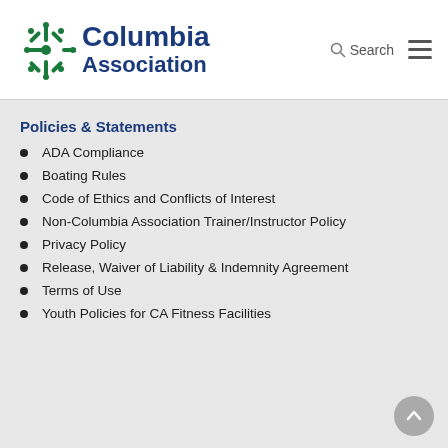Columbia Association — Search
Policies & Statements
ADA Compliance
Boating Rules
Code of Ethics and Conflicts of Interest
Non-Columbia Association Trainer/Instructor Policy
Privacy Policy
Release, Waiver of Liability & Indemnity Agreement
Terms of Use
Youth Policies for CA Fitness Facilities